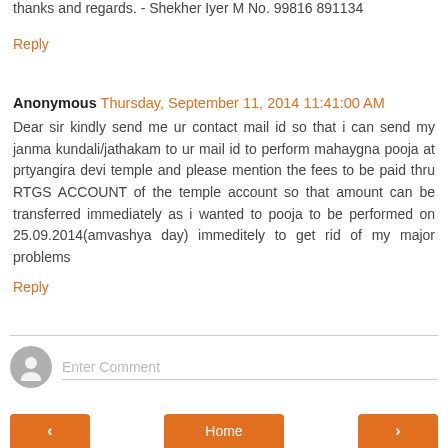thanks and regards. - Shekher Iyer M No. 99816 891134
Reply
Anonymous  Thursday, September 11, 2014 11:41:00 AM
Dear sir kindly send me ur contact mail id so that i can send my janma kundali/jathakam to ur mail id to perform mahaygna pooja at prtyangira devi temple and please mention the fees to be paid thru RTGS ACCOUNT of the temple account so that amount can be transferred immediately as i wanted to pooja to be performed on 25.09.2014(amvashya day) immeditely to get rid of my major problems
Reply
Enter Comment